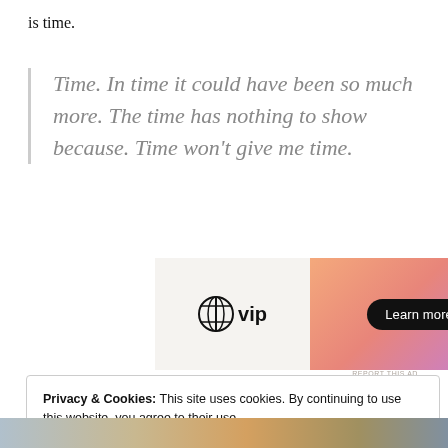is time.
Time. In time it could have been so much more. The time has nothing to show because. Time won't give me time.
[Figure (other): WordPress VIP advertisement banner with logo on left and colorful orange-pink gradient on right with 'Learn more →' button]
REPORT THIS AD
Privacy & Cookies: This site uses cookies. By continuing to use this website, you agree to their use.
To find out more, including how to control cookies, see here: Cookie Policy
Close and accept
[Figure (photo): Partial photo strip at bottom of page showing outdoor scene]